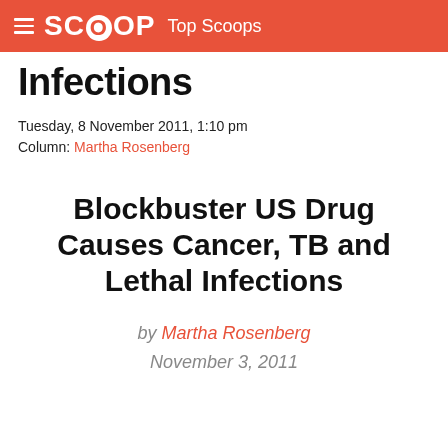SCOOP  Top Scoops
Infections
Tuesday, 8 November 2011, 1:10 pm
Column: Martha Rosenberg
Blockbuster US Drug Causes Cancer, TB and Lethal Infections
by Martha Rosenberg
November 3, 2011